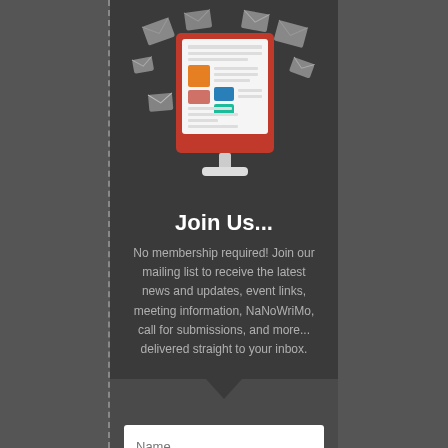[Figure (illustration): Flat design illustration of a computer monitor displaying a newsletter/document with colorful rectangles, surrounded by flying envelope icons on a dark background]
Join Us...
No membership required! Join our mailing list to receive the latest news and updates, event links, meeting information, NaNoWriMo, call for submissions, and more... delivered straight to your inbox.